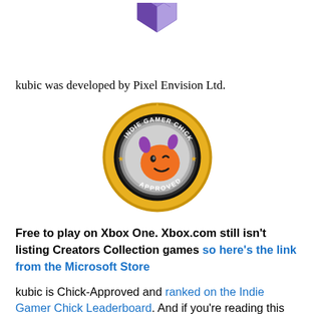[Figure (logo): Purple and blue 3D cubic logo for kubic game by Pixel Envision Ltd]
kubic was developed by Pixel Envision Ltd.
[Figure (logo): Indie Gamer Chick Approved gold badge/seal with cartoon character]
Free to play on Xbox One. Xbox.com still isn't listing Creators Collection games so here's the link from the Microsoft Store
kubic is Chick-Approved and ranked on the Indie Gamer Chick Leaderboard. And if you're reading this